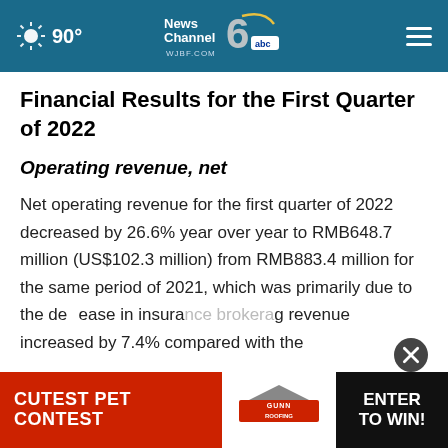90° News Channel 6 abc WJBF.COM
Financial Results for the First Quarter of 2022
Operating revenue, net
Net operating revenue for the first quarter of 2022 decreased by 26.6% year over year to RMB648.7 million (US$102.3 million) from RMB883.4 million for the same period of 2021, which was primarily due to the decrease in insura... g revenue increased by 7.4% compared with the